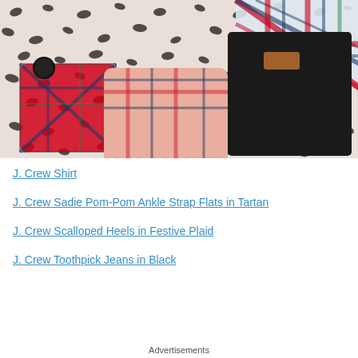[Figure (photo): Flat lay photo on a black and white leopard print background showing plaid shoes with pom-poms, scalloped plaid flats, a black suede bag with tan leather tag, and a plaid shirt with green and red tartan pattern.]
J. Crew Shirt
J. Crew Sadie Pom-Pom Ankle Strap Flats in Tartan
J. Crew Scalloped Heels in Festive Plaid
J. Crew Toothpick Jeans in Black
Advertisements